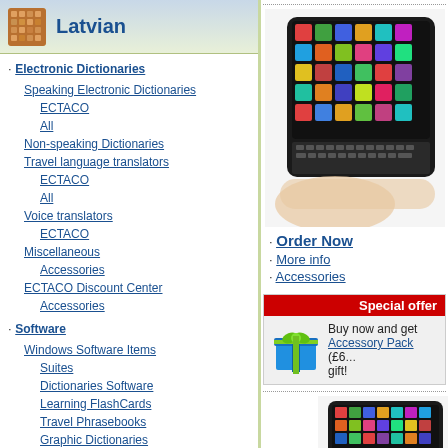Latvian
Electronic Dictionaries
Speaking Electronic Dictionaries
ECTACO
All
Non-speaking Dictionaries
Travel language translators
ECTACO
All
Voice translators
ECTACO
Miscellaneous
Accessories
ECTACO Discount Center
Accessories
Software
Windows Software Items
Suites
Dictionaries Software
Learning FlashCards
Travel Phrasebooks
Graphic Dictionaries
Language Learning Tips
Travel Tools
Software Packages
Software Packages
Android
Dictionaries for Android
Software Collections for Android
Travel Phrasebooks for Android
Suite for Android
[Figure (photo): Tablet device with colorful app grid and keyboard being held in hand]
Order Now
More info
Accessories
Special offer
Buy now and get Accessory Pack (£6... gift!
[Figure (photo): Tablet device bottom portion visible]